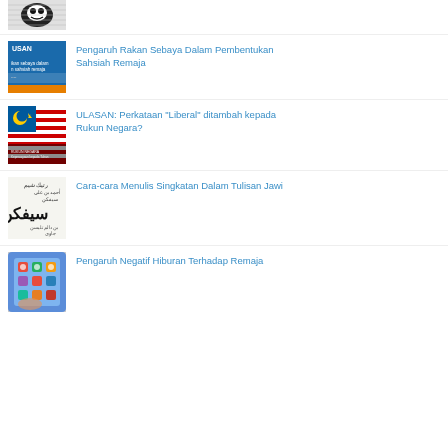[Figure (photo): Partial thumbnail image cropped at top, black and white sticker-like illustration]
[Figure (photo): Blue Utusan newspaper thumbnail with text about rakan sebaya / sahsiah remaja]
Pengaruh Rakan Sebaya Dalam Pembentukan Sahsiah Remaja
[Figure (photo): Rukun Negara image with Malaysian flag and text overlay]
ULASAN: Perkataan "Liberal" ditambah kepada Rukun Negara?
[Figure (photo): Jawi script handwriting/text example image]
Cara-cara Menulis Singkatan Dalam Tulisan Jawi
[Figure (photo): Smartphone with colorful social media app icons on screen]
Pengaruh Negatif Hiburan Terhadap Remaja